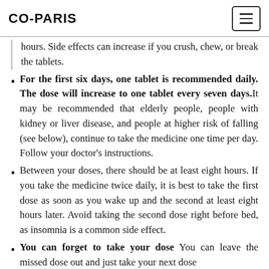CO-PARIS
hours. Side effects can increase if you crush, chew, or break the tablets.
For the first six days, one tablet is recommended daily. The dose will increase to one tablet every seven days. It may be recommended that elderly people, people with kidney or liver disease, and people at higher risk of falling (see below), continue to take the medicine one time per day. Follow your doctor's instructions.
Between your doses, there should be at least eight hours. If you take the medicine twice daily, it is best to take the first dose as soon as you wake up and the second at least eight hours later. Avoid taking the second dose right before bed, as insomnia is a common side effect.
You can forget to take your dose You can leave the missed dose out and just take your next dose